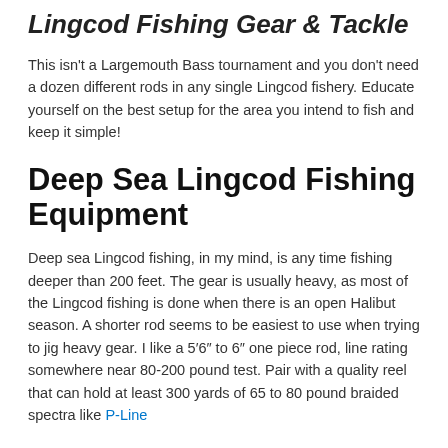Lingcod Fishing Gear & Tackle
This isn't a Largemouth Bass tournament and you don't need a dozen different rods in any single Lingcod fishery. Educate yourself on the best setup for the area you intend to fish and keep it simple!
Deep Sea Lingcod Fishing Equipment
Deep sea Lingcod fishing, in my mind, is any time fishing deeper than 200 feet. The gear is usually heavy, as most of the Lingcod fishing is done when there is an open Halibut season. A shorter rod seems to be easiest to use when trying to jig heavy gear. I like a 5′6″ to 6″ one piece rod, line rating somewhere near 80-200 pound test. Pair with a quality reel that can hold at least 300 yards of 65 to 80 pound braided spectra like P-Line